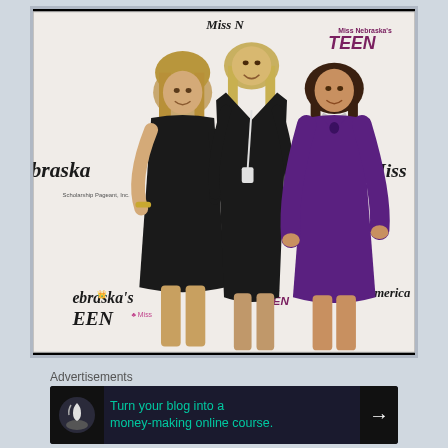[Figure (photo): Three women posing in front of a Miss Nebraska's Teen / Miss America step-and-repeat banner backdrop. The left woman wears a black dress, the center woman wears a black V-neck dress (tallest), and the right woman wears a purple knee-length dress.]
Advertisements
Turn your blog into a money-making online course.